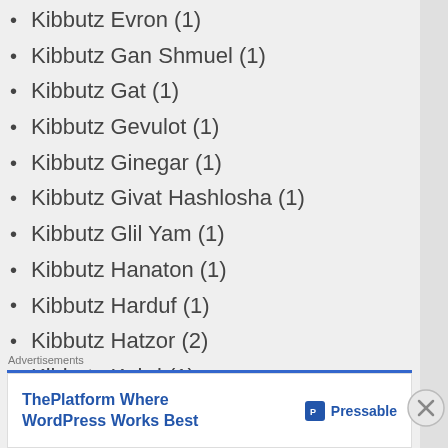Kibbutz Evron (1)
Kibbutz Gan Shmuel (1)
Kibbutz Gat (1)
Kibbutz Gevulot (1)
Kibbutz Ginegar (1)
Kibbutz Givat Hashlosha (1)
Kibbutz Glil Yam (1)
Kibbutz Hanaton (1)
Kibbutz Harduf (1)
Kibbutz Hatzor (2)
Kibbutz Kabri (1)
Kibbutz Kfar Aza (1)
Kibbutz Kfar Giladi (1)
Kibbutz Lohamei Hagetaot (2)
Kibbutz Maagan Michael (1)
Advertisements
[Figure (other): Pressable advertisement banner: ThePlatform Where WordPress Works Best]